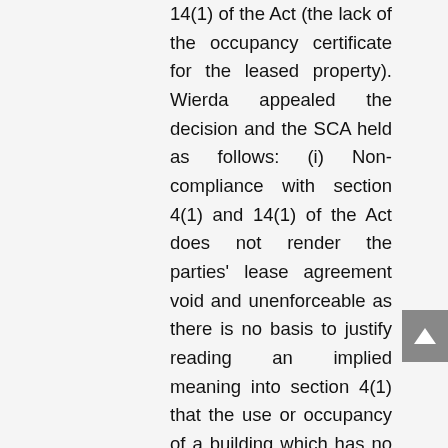14(1) of the Act (the lack of the occupancy certificate for the leased property). Wierda appealed the decision and the SCA held as follows: (i) Non-compliance with section 4(1) and 14(1) of the Act does not render the parties' lease agreement void and unenforceable as there is no basis to justify reading an implied meaning into section 4(1) that the use or occupancy of a building which has no approved plans is prohibited; (ii) Sizwe was fully aware of the lack of the occupancy certificate and had consented to the use and occupation under the circumstances. Therefore, Sizwe had received exactly what it had bargained for, which was office accommodation refurbished to its needs, in a building with an outstanding occupancy certificate which, to its knowledge, the owner (Wierda) was in the process of obtaining. Sizwe never complained of this